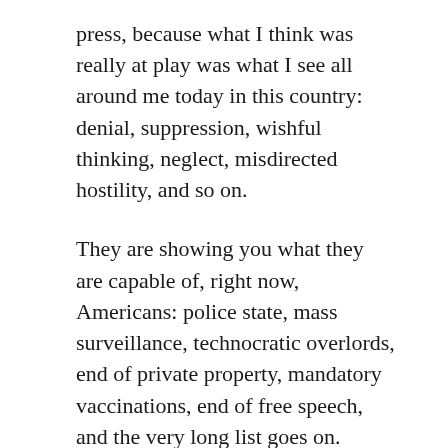press, because what I think was really at play was what I see all around me today in this country: denial, suppression, wishful thinking, neglect, misdirected hostility, and so on.
They are showing you what they are capable of, right now, Americans: police state, mass surveillance, technocratic overlords, end of private property, mandatory vaccinations, end of free speech, and the very long list goes on.
Thanks very much to Decker, Dispatches from the Asylum for this brief sampling of the day on the capabilities and intentions of our current overlords: